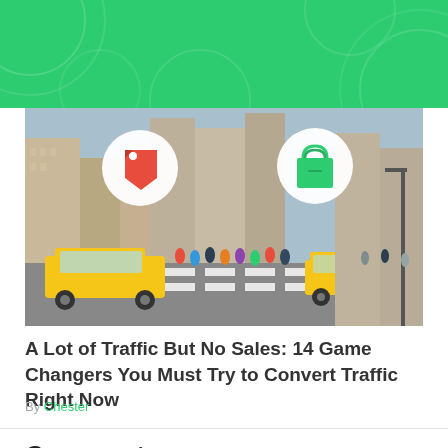[Figure (photo): Green decorative header background with circular pattern motifs]
[Figure (photo): Street photo of New York City with yellow taxis, pedestrians crossing at a crosswalk, tall buildings, with two circular icons overlaid — a red tag icon on the left and a green shopping bag icon on the right]
A Lot of Traffic But No Sales: 14 Game Changers You Must Try to Convert Traffic Right Now
By Chester
Comments